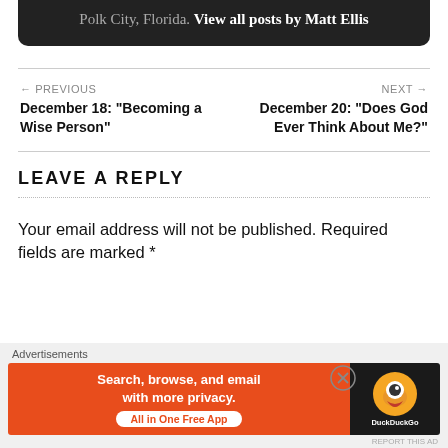Polk City, Florida. View all posts by Matt Ellis
← PREVIOUS
December 18: "Becoming a Wise Person"
NEXT →
December 20: "Does God Ever Think About Me?"
LEAVE A REPLY
Your email address will not be published. Required fields are marked *
[Figure (screenshot): DuckDuckGo advertisement banner: orange background with text 'Search, browse, and email with more privacy. All in One Free App' and DuckDuckGo logo on dark background.]